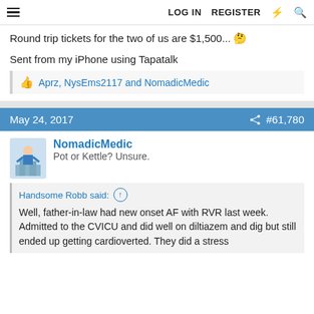LOG IN  REGISTER
Round trip tickets for the two of us are $1,500... 🤔
Sent from my iPhone using Tapatalk
👍 Aprz, NysEms2117 and NomadicMedic
May 24, 2017  #61,780
NomadicMedic
Pot or Kettle? Unsure.
Handsome Robb said: ↑

Well, father-in-law had new onset AF with RVR last week. Admitted to the CVICU and did well on diltiazem and dig but still ended up getting cardioverted. They did a stress...